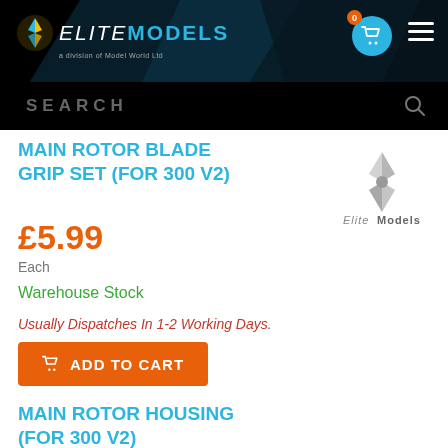[Figure (screenshot): Elite Models logo with helicopter blade icon, white/italic 'Elite' and bold cyan 'Models' text on black background]
SEARCH
MAIN ROTOR BLADE GRIP SET (FOR 300 V2)
[Figure (logo): Elite Models greyscale logo with spinning blade icon]
£5.99
Each
Warehouse Stock
Usually Dispatches In 1-2 Working Days.
ADD TO CART
MAIN ROTOR HOUSING (FOR 300 V2)